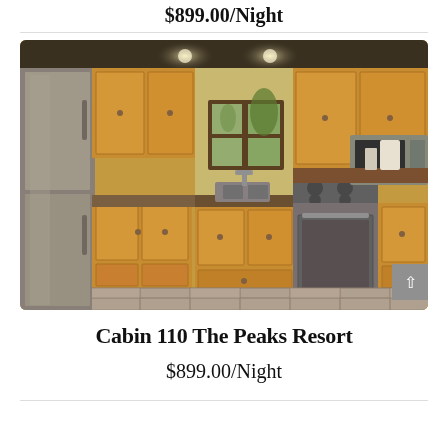$899.00/Night
[Figure (photo): Interior kitchen photo of Cabin 110 at The Peaks Resort, showing warm wood cabinets, stainless steel appliances including a large refrigerator and gas range, microwave above stove, tile floor with checker pattern, window with view of trees, and granite countertops.]
Cabin 110 The Peaks Resort
$899.00/Night